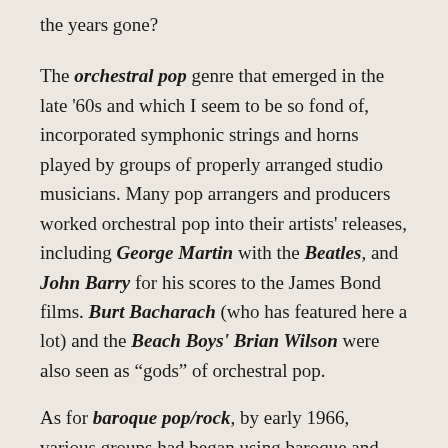the years gone?
The orchestral pop genre that emerged in the late '60s and which I seem to be so fond of, incorporated symphonic strings and horns played by groups of properly arranged studio musicians. Many pop arrangers and producers worked orchestral pop into their artists' releases, including George Martin with the Beatles, and John Barry for his scores to the James Bond films. Burt Bacharach (who has featured here a lot) and the Beach Boys' Brian Wilson were also seen as “gods” of orchestral pop.
As for baroque pop/rock, by early 1966, various groups had began using baroque and classical instrumentation. The Zombies' single She's Not